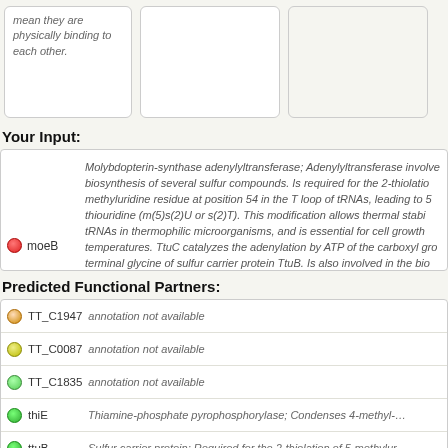mean they are physically binding to each other.
Your Input:
moeB — Molybdopterin-synthase adenylyltransferase; Adenylyltransferase involved in the biosynthesis of several sulfur compounds. Is required for the 2-thiolation of 5-methyluridine residue at position 54 in the T loop of tRNAs, leading to 5-methyluridine thiouridine (m(5)s(2)U or s(2)T). This modification allows thermal stability of tRNAs in thermophilic microorganisms, and is essential for cell growth at high temperatures. TtuC catalyzes the adenylation by ATP of the carboxyl group of the terminal glycine of sulfur carrier protein TtuB. Is also involved in the biosynthesis of thiamine, mol [...] (271 aa)
Predicted Functional Partners:
| Gene | Description |
| --- | --- |
| TT_C1947 | annotation not available |
| TT_C0087 | annotation not available |
| TT_C1835 | annotation not available |
| thiE | Thiamine-phosphate pyrophosphorylase; Condenses 4-methyl-5-(beta-hy... |
| ttuB | Sulfur carrier protein; Required for the 2-thiolation of 5-methyluridine res... |
| thiG | Thiazole biosynthesis protein thig; Catalyzes the rearrangement of 1-de... |
| ttuA | TRNA-5-methyluridine54 2-sulfurtransferase; Catalyzes the ATP-depende... |